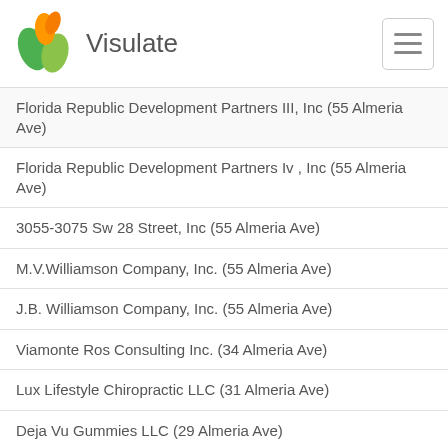Visulate
Florida Republic Development Partners III, Inc (55 Almeria Ave)
Florida Republic Development Partners Iv , Inc (55 Almeria Ave)
3055-3075 Sw 28 Street, Inc (55 Almeria Ave)
M.V.Williamson Company, Inc. (55 Almeria Ave)
J.B. Williamson Company, Inc. (55 Almeria Ave)
Viamonte Ros Consulting Inc. (34 Almeria Ave)
Lux Lifestyle Chiropractic LLC (31 Almeria Ave)
Deja Vu Gummies LLC (29 Almeria Ave)
Deja Vu Hair Studio Corp (29 Almeria Ave)
Coninvex, Inc. (27 Almeria Ave)